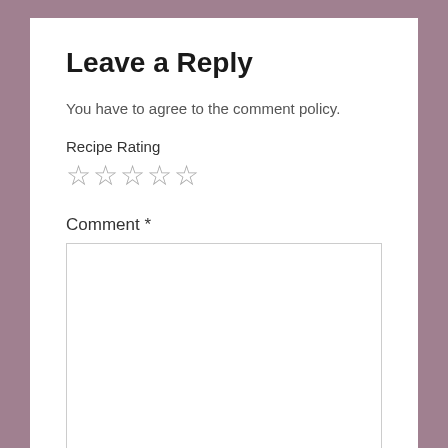Leave a Reply
You have to agree to the comment policy.
Recipe Rating
☆☆☆☆☆
Comment *